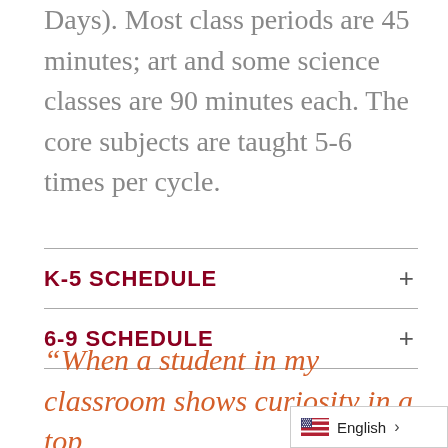Days). Most class periods are 45 minutes; art and some science classes are 90 minutes each. The core subjects are taught 5-6 times per cycle.
K-5 SCHEDULE
6-9 SCHEDULE
“When a student in my classroom shows curiosity in a top...